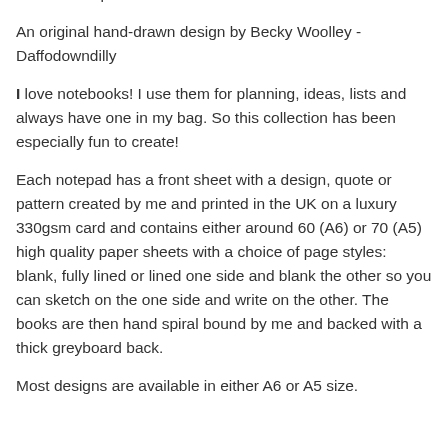wear makeup that showed her beautiful natural freckles.
An original hand-drawn design by Becky Woolley - Daffodowndilly
I love notebooks! I use them for planning, ideas, lists and always have one in my bag. So this collection has been especially fun to create!
Each notepad has a front sheet with a design, quote or pattern created by me and printed in the UK on a luxury 330gsm card and contains either around 60 (A6) or 70 (A5) high quality paper sheets with a choice of page styles:  blank, fully lined or lined one side and blank the other so you can sketch on the one side and write on the other. The books are then hand spiral bound by me and backed with a thick greyboard back.
Most designs are available in either A6 or A5 size.